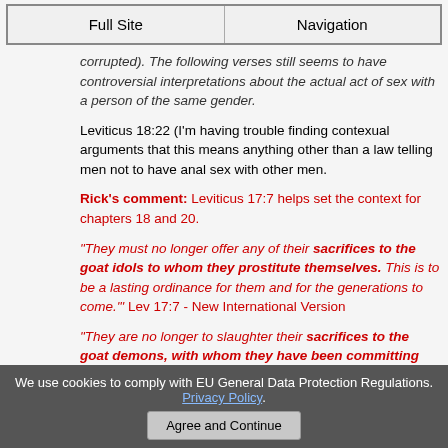Full Site | Navigation
corrupted). The following verses still seems to have controversial interpretations about the actual act of sex with a person of the same gender.
Leviticus 18:22 (I'm having trouble finding contexual arguments that this means anything other than a law telling men not to have anal sex with other men.
Rick's comment: Leviticus 17:7 helps set the context for chapters 18 and 20.
"They must no longer offer any of their sacrifices to the goat idols to whom they prostitute themselves. This is to be a lasting ordinance for them and for the generations to come.'" Lev 17:7 - New International Version
"They are no longer to slaughter their sacrifices to the goat demons, with whom they have been committing prostitution. This will be a perpetual statute for you throughout your generations."
We use cookies to comply with EU General Data Protection Regulations. Privacy Policy. Agree and Continue